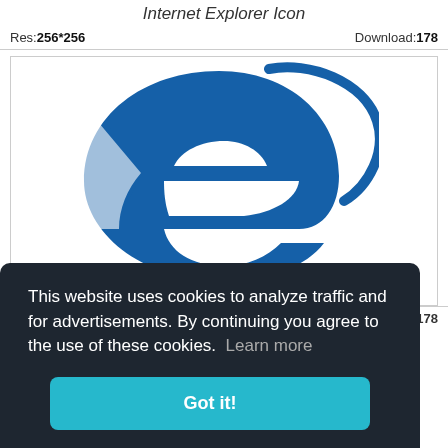Internet Explorer Icon
Res: 256*256   Download: 178
[Figure (logo): Internet Explorer logo – large blue 'e' shape with a white interior cutout and a blue orbital ring swooping around the top right]
This website uses cookies to analyze traffic and for advertisements. By continuing you agree to the use of these cookies.  Learn more
Got it!
Res: 1514*1600   Download: 178